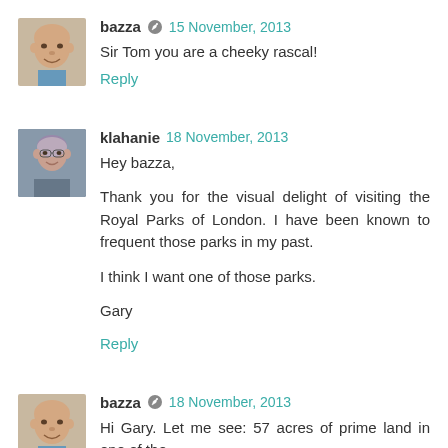bazza 15 November, 2013
Sir Tom you are a cheeky rascal!
Reply
klahanie 18 November, 2013
Hey bazza,
Thank you for the visual delight of visiting the Royal Parks of London. I have been known to frequent those parks in my past.
I think I want one of those parks.
Gary
Reply
bazza 18 November, 2013
Hi Gary. Let me see: 57 acres of prime land in one of the